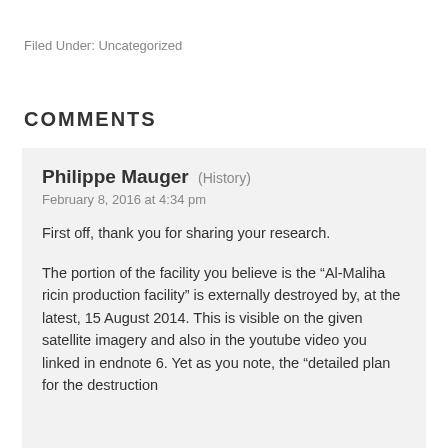Filed Under: Uncategorized
COMMENTS
Philippe Mauger (History)
February 8, 2016 at 4:34 pm
First off, thank you for sharing your research.
The portion of the facility you believe is the “Al-Maliha ricin production facility” is externally destroyed by, at the latest, 15 August 2014. This is visible on the given satellite imagery and also in the youtube video you linked in endnote 6. Yet as you note, the “detailed plan for the destruction